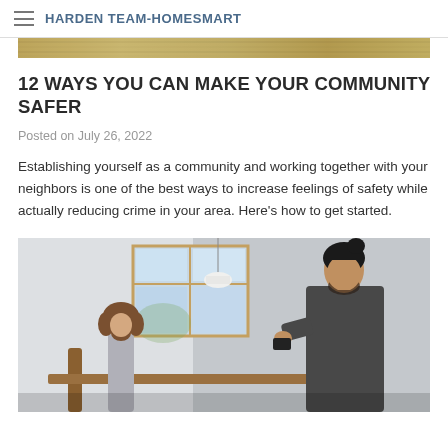HARDEN TEAM-HOMESMART
[Figure (photo): Top decorative image bar showing a golden/wood texture banner]
12 WAYS YOU CAN MAKE YOUR COMMUNITY SAFER
Posted on July 26, 2022
Establishing yourself as a community and working together with your neighbors is one of the best ways to increase feelings of safety while actually reducing crime in your area. Here's how to get started.
[Figure (photo): Photo of two people, a woman with curly hair and a man with a bun hairstyle, appearing to be in conversation inside a room with wooden-framed windows]